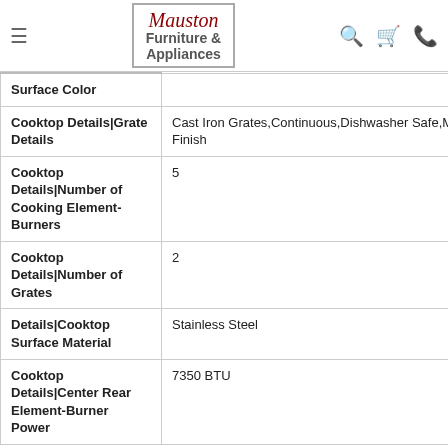[Figure (logo): Mauston Furniture & Appliances logo with hamburger menu and icons]
| Attribute | Value |
| --- | --- |
| Surface Color |  |
| Cooktop Details|Grate Details | Cast Iron Grates,Continuous,Dishwasher Safe,Matte Finish |
| Cooktop Details|Number of Cooking Element-Burners | 5 |
| Cooktop Details|Number of Grates | 2 |
| Details|Cooktop Surface Material | Stainless Steel |
| Cooktop Details|Center Rear Element-Burner Power | 7350 BTU |